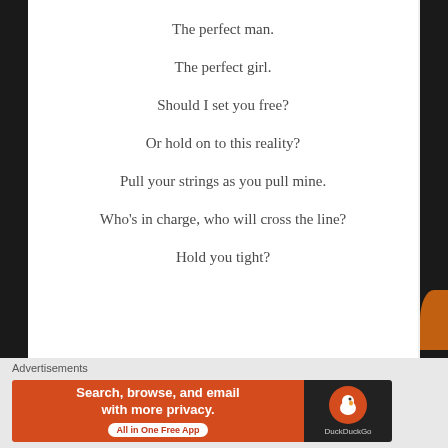The perfect man.
The perfect girl.
Should I set you free?
Or hold on to this reality?
Pull your strings as you pull mine.
Who's in charge, who will cross the line?
Hold you tight?
Advertisements
[Figure (infographic): DuckDuckGo advertisement banner: orange left panel with white text 'Search, browse, and email with more privacy.' and 'All in One Free App' button; dark right panel with DuckDuckGo logo and name.]